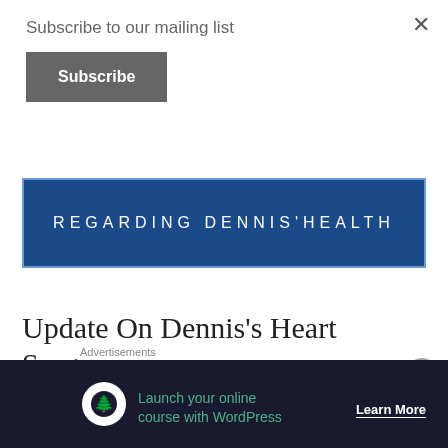Subscribe to our mailing list
Subscribe
[Figure (other): Blue banner with text REGARDING DENNIS'HEALTH]
Update On Dennis's Heart Surgery
PUBLISHED ON March 23, 2020 by Alissa
Leave a comment
[Figure (other): Advertisement banner: Launch your online course with WordPress - Learn More]